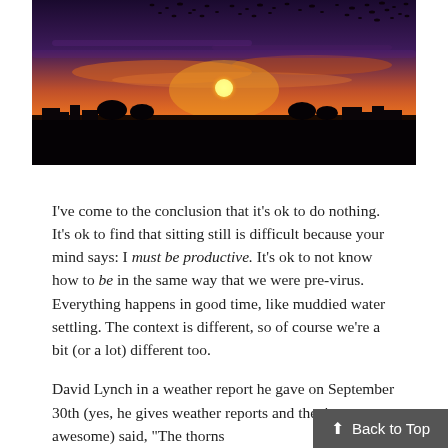[Figure (photo): Sunset landscape photo with silhouetted buildings and trees on the horizon, dramatic orange and purple sky, and a large flock of birds in the upper portion of the image.]
I've come to the conclusion that it's ok to do nothing. It's ok to find that sitting still is difficult because your mind says: I must be productive. It's ok to not know how to be in the same way that we were pre-virus. Everything happens in good time, like muddied water settling. The context is different, so of course we're a bit (or a lot) different too.
David Lynch in a weather report he gave on September 30th (yes, he gives weather reports and they're awesome) said, "The thorns of a rose bush right now are big. And there